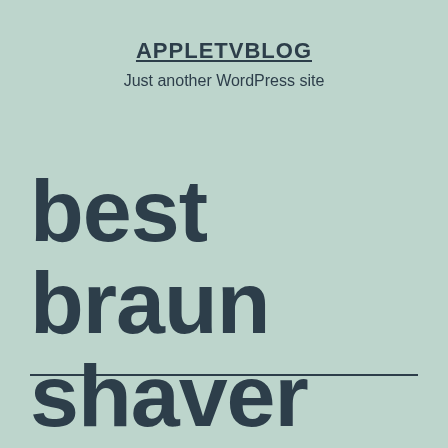APPLETVBLOG
Just another WordPress site
best braun shaver 435